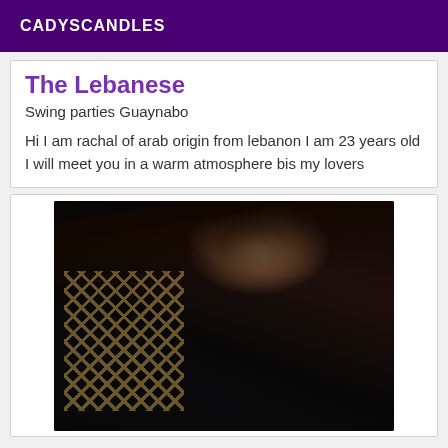CADYSCANDLES
The Lebanese
Swing parties Guaynabo
Hi I am rachal of arab origin from lebanon I am 23 years old I will meet you in a warm atmosphere bis my lovers
[Figure (photo): Photo of a young woman with long dark hair wearing a black outfit with fishnet stockings, photo taken at an angle]